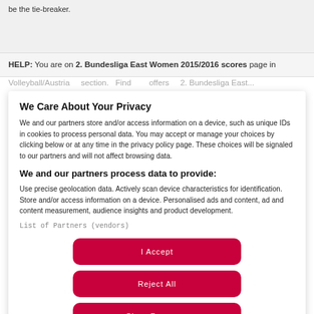be the tie-breaker.
HELP: You are on 2. Bundesliga East Women 2015/2016 scores page in Volleyball/Austria section. Find scores, offers, 2. Bundesliga East...
We Care About Your Privacy
We and our partners store and/or access information on a device, such as unique IDs in cookies to process personal data. You may accept or manage your choices by clicking below or at any time in the privacy policy page. These choices will be signaled to our partners and will not affect browsing data.
We and our partners process data to provide:
Use precise geolocation data. Actively scan device characteristics for identification. Store and/or access information on a device. Personalised ads and content, ad and content measurement, audience insights and product development.
List of Partners (vendors)
I Accept
Reject All
Show Purposes